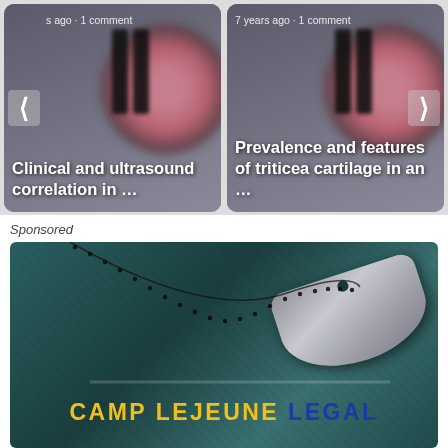[Figure (screenshot): Card carousel showing article: Clinical and ultrasound correlation in ... with navigation arrows and blurred ultrasound background image. Meta: years ago · 1 comment]
Clinical and ultrasound correlation in …
[Figure (screenshot): Card carousel showing article: Prevalence and features of triticea cartilage in an ... with navigation arrow and blurred ultrasound background image. Meta: 7 years ago · 1 comment]
Prevalence and features of triticea cartilage in an …
Sponsored
[Figure (photo): Advertisement banner with dark teal leather texture background, military dog tag with chain, and text CAMP LEJEUNE LEGAL]